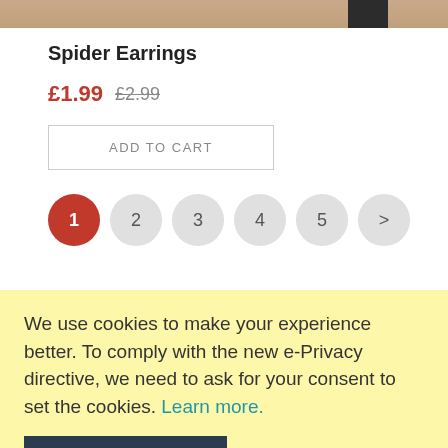[Figure (photo): Partial product image strip at top of page showing earrings]
Spider Earrings
£1.99  £2.99
ADD TO CART
1  2  3  4  5  >
We use cookies to make your experience better. To comply with the new e-Privacy directive, we need to ask for your consent to set the cookies. Learn more.
ALLOW COOKIES